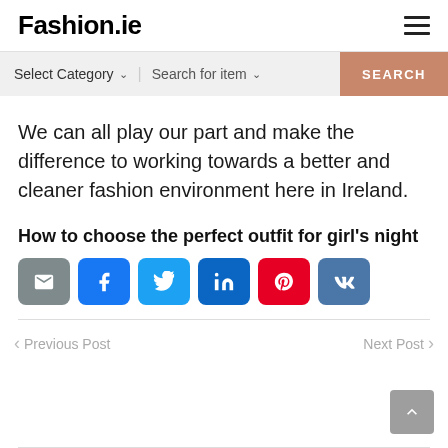Fashion.ie
We can all play our part and make the difference to working towards a better and cleaner fashion environment here in Ireland.
How to choose the perfect outfit for girl's night
[Figure (infographic): Row of social share buttons: email (grey), Facebook (blue), Twitter (light blue), LinkedIn (dark blue), Pinterest (red), VK (slate blue)]
Previous Post
Next Post